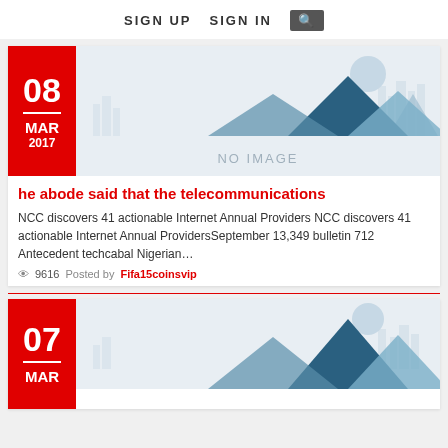SIGN UP   SIGN IN   🔍
[Figure (illustration): No image placeholder with mountain silhouette graphic and city skyline in light blue/gray tones]
he abode said that the telecommunications
NCC discovers 41 actionable Internet Annual Providers NCC discovers 41 actionable Internet Annual ProvidersSeptember 13,349 bulletin 712 Antecedent techcabal Nigerian…
👁 9616   Posted by Fifa15coinsvip
[Figure (illustration): Second no image placeholder with mountain silhouette graphic and city skyline in light blue/gray tones, partially visible]